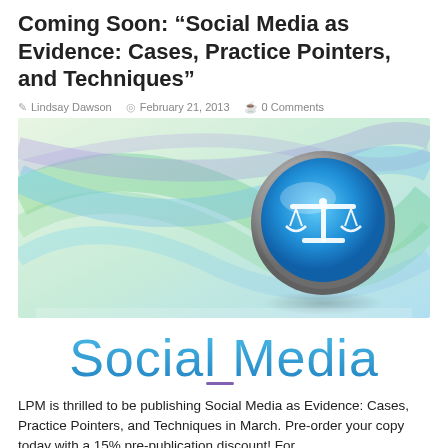Coming Soon: “Social Media as Evidence: Cases, Practice Pointers, and Techniques”
Lindsay Dawson   February 21, 2013   0 Comments
[Figure (illustration): Decorative image with colorful flowing ribbons (green, blue, purple) and a metallic blue scales-of-justice icon/button on the right side]
[Figure (illustration): Stylized text logo reading 'Social Media' in light blue gradient lettering with a small decorative element below]
LPM is thrilled to be publishing Social Media as Evidence: Cases, Practice Pointers, and Techniques in March. Pre-order your copy today with a 15% pre-publication discount! For